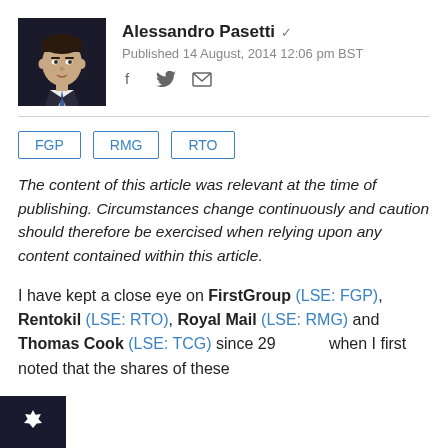[Figure (photo): Author photo of Alessandro Pasetti, a man in a suit and tie with dark background]
Alessandro Pasetti ✓
Published 14 August, 2014 12:06 pm BST
FGP   RMG   RTO
The content of this article was relevant at the time of publishing. Circumstances change continuously and caution should therefore be exercised when relying upon any content contained within this article.
I have kept a close eye on FirstGroup (LSE: FGP), Rentokil (LSE: RTO), Royal Mail (LSE: RMG) and Thomas Cook (LSE: TCG) since 29 when I first noted that the shares of these